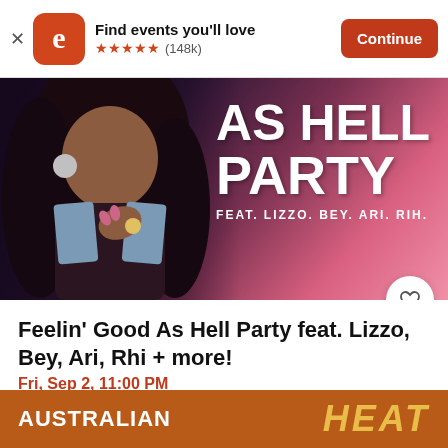Find events you'll love ★★★★★ (148k) Continue
[Figure (photo): Event promotional image for 'Feelin Good As Hell Party feat. Lizzo, Bey, Ari, Rhi' — a woman with curly hair on a pink background with bold white text: AS HELL PARTY FEAT. LIZZO. BEY. ARI. RIH.]
Feelin' Good As Hell Party feat. Lizzo, Bey, Ari, Rhi + more!
Fri, Sep 2, 11:00 PM
Stay Gold • Melbourne, VIC
Free
[Figure (photo): Partial view of a bottom event card with orange background showing 'AUSTRALIAN' text and 'HEAT' in golden letters]